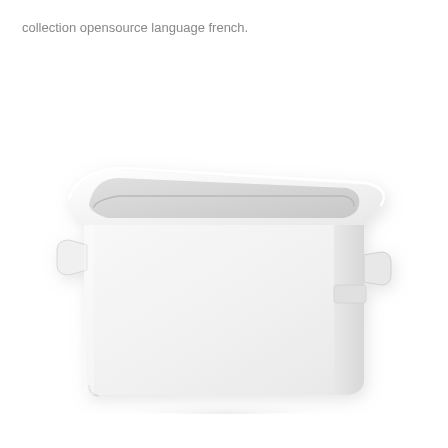collection opensource language french.
[Figure (photo): A white rectangular plastic storage box/bin with rounded corners and a slightly tapered body, viewed from a three-quarter angle. The box is open at the top and appears to be a simple household storage container similar to an IKEA TROFAST box.]